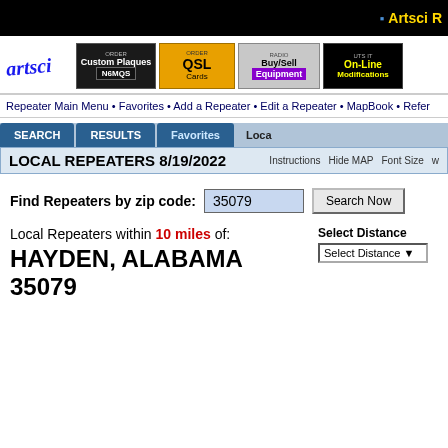Artsci R
[Figure (logo): Artsci handwritten logo with ad buttons: Custom Plaques N6MQS, QSL Cards, Buy/Sell Equipment, On-Line Modifications]
Repeater Main Menu • Favorites • Add a Repeater • Edit a Repeater • MapBook • Refe...
LOCAL REPEATERS 8/19/2022
Find Repeaters by zip code: 35079
Local Repeaters within 10 miles of: HAYDEN, ALABAMA 35079